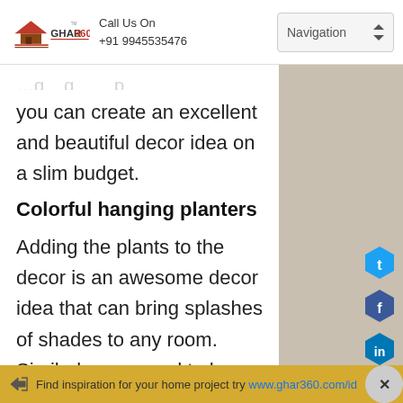Call Us On +91 9945535476 | Navigation
you can create an excellent and beautiful decor idea on a slim budget.
Colorful hanging planters
Adding the plants to the decor is an awesome decor idea that can bring splashes of shades to any room. Similarly, you need to have floral plants that have dark foliage and then put
Find inspiration for your home project try www.ghar360.com/id